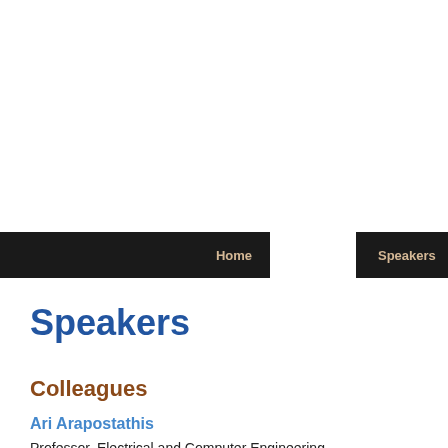Home | Speakers | Comm
Speakers
Colleagues
Ari Arapostathis
Professor, Electrical and Computer Engineering
The University of Texas at Austin
Austin, TX
Albert Benyamiste